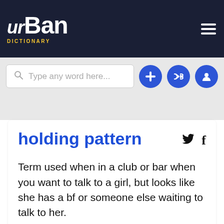[Figure (screenshot): Urban Dictionary website header with logo, search bar, and navigation icons]
holding pattern
Term used when in a club or bar when you want to talk to a girl, but looks like she has a bf or someone else waiting to talk to her.
You enter the holding pattern until either everyone around her goes away or you alter your